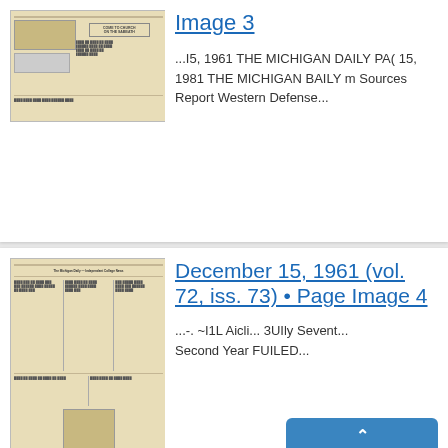[Figure (screenshot): Thumbnail of a newspaper page showing 'Come to Church on the Sabbath' advertisement]
Image 3
...I5, 1961 THE MICHIGAN DAILY PA( 15, 1981 THE MICHIGAN BAILY m Sources Report Western Defense...
[Figure (screenshot): Thumbnail of a newspaper page with illustration at the bottom]
December 15, 1961 (vol. 72, iss. 73) • Page Image 4
...-. ~I1L Aicli... 3UIly Sevent... Second Year FUILED...